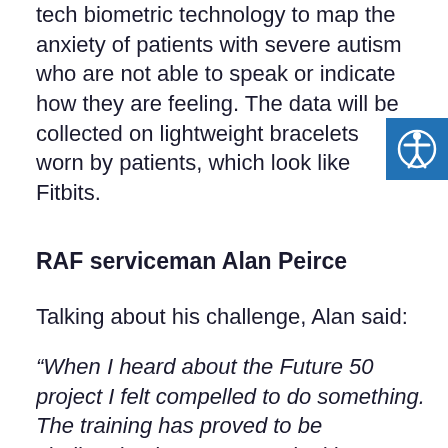tech biometric technology to map the anxiety of patients with severe autism who are not able to speak or indicate how they are feeling. The data will be collected on lightweight bracelets worn by patients, which look like Fitbits.
RAF serviceman Alan Peirce
Talking about his challenge, Alan said:
“When I heard about the Future 50 project I felt compelled to do something. The training has proved to be challenging however I am looking forward to